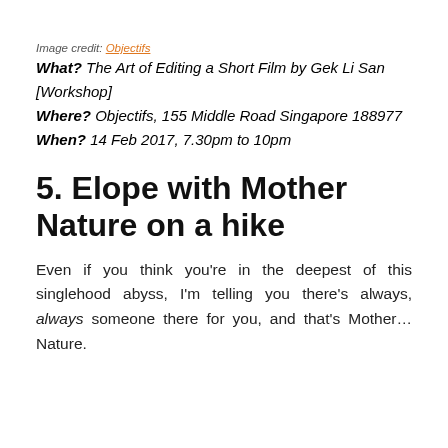Image credit: Objectifs
What? The Art of Editing a Short Film by Gek Li San [Workshop]
Where? Objectifs, 155 Middle Road Singapore 188977
When? 14 Feb 2017, 7.30pm to 10pm
5. Elope with Mother Nature on a hike
Even if you think you're in the deepest of this singlehood abyss, I'm telling you there's always, always someone there for you, and that's Mother… Nature.